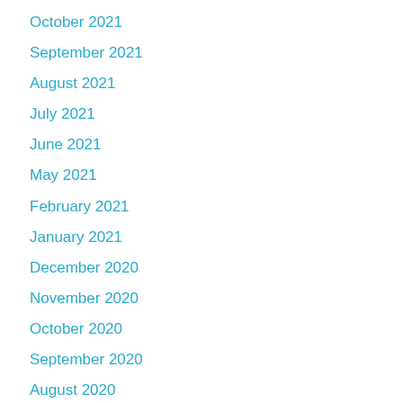October 2021
September 2021
August 2021
July 2021
June 2021
May 2021
February 2021
January 2021
December 2020
November 2020
October 2020
September 2020
August 2020
July 2020